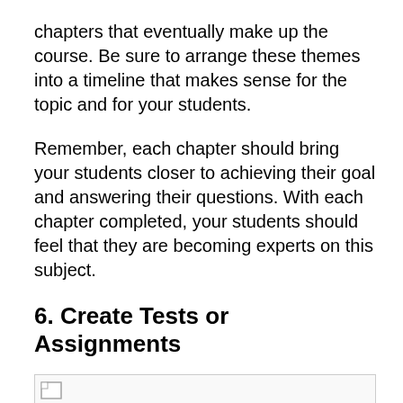chapters that eventually make up the course. Be sure to arrange these themes into a timeline that makes sense for the topic and for your students.
Remember, each chapter should bring your students closer to achieving their goal and answering their questions. With each chapter completed, your students should feel that they are becoming experts on this subject.
6. Create Tests or Assignments
[Figure (other): Broken/placeholder image icon with a light border, indicating an image failed to load]